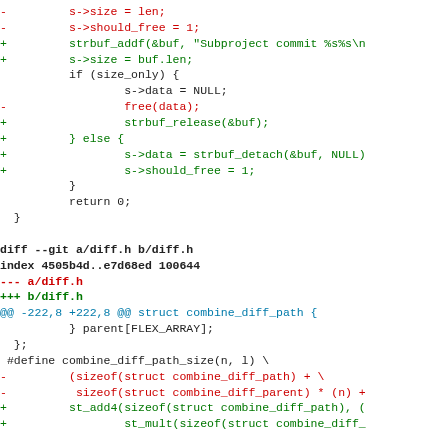Code diff showing changes to diff.h and related C source files. Includes removal of s->size, s->should_free, free(data) and addition of strbuf_addf, strbuf_release, strbuf_detach, st_add4, st_mult functions. Also shows diff --git a/diff.h b/diff.h header and changes to combine_diff_path_size macro.